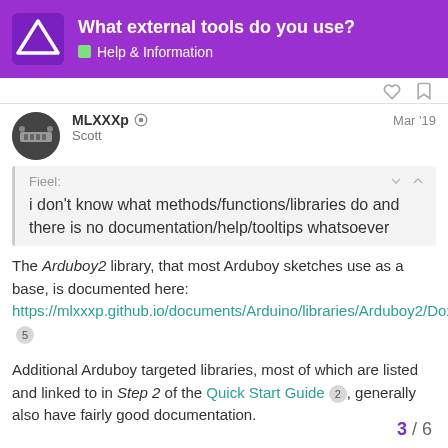What external tools do you use? — Help & Information
MLXXXp ◉ Scott — Mar '19
Fieel: i don't know what methods/functions/libraries do and there is no documentation/help/tooltips whatsoever
The Arduboy2 library, that most Arduboy sketches use as a base, is documented here: https://mlxxxp.github.io/documents/Arduino/libraries/Arduboy2/Doxygen/html/index.html 5
Additional Arduboy targeted libraries, most of which are listed and linked to in Step 2 of the Quick Start Guide 2, generally also have fairly good documentation.
3 / 6